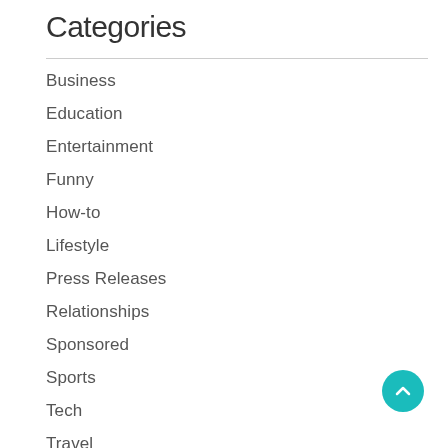Categories
Business
Education
Entertainment
Funny
How-to
Lifestyle
Press Releases
Relationships
Sponsored
Sports
Tech
Travel
Trending News